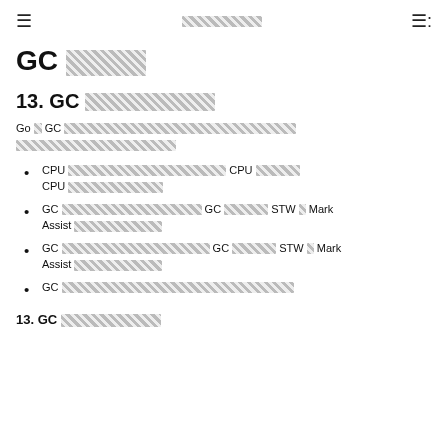≡  [garbled text]  ≡:
GC [garbled]
13. GC [garbled]
Go の GC [garbled Japanese text]
CPU [garbled] CPU [garbled] CPU [garbled]
GC [garbled] GC [garbled] STW と Mark Assist [garbled]
GC [garbled] GC [garbled] STW と Mark Assist [garbled]
GC [garbled]
13. GC [garbled]